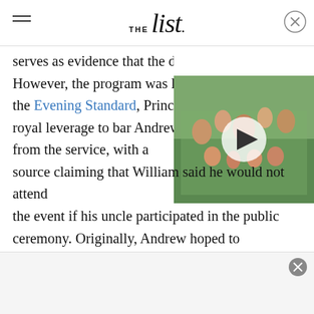THE list
serves as evidence that the d However, the program was la the Evening Standard, Prince royal leverage to bar Andrew from the service, with a source claiming that William said he would not attend the event if his uncle participated in the public ceremony. Originally, Andrew hoped to participate in the procession and carriage ride. As journalist Omid Scobie tweeted, Andrew still is "a Knight of the Order of the Garter."
[Figure (photo): Family photo with woman and several children outdoors, with a video play button overlay]